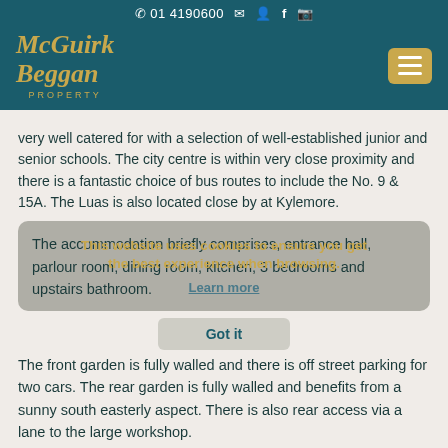McGuirk Beggan PROPERTY — 01 4190600
very well catered for with a selection of well-established junior and senior schools. The city centre is within very close proximity and there is a fantastic choice of bus routes to include the No. 9 & 15A. The Luas is also located close by at Kylemore.
The accommodation briefly comprises, entrance hall, parlour room, dining room, kitchen, 3 bedrooms and upstairs bathroom.
This website uses cookies to ensure you get the best experience when browsing.
Learn more
Got it
The front garden is fully walled and there is off street parking for two cars. The rear garden is fully walled and benefits from a sunny south easterly aspect. There is also rear access via a lane to the large workshop.